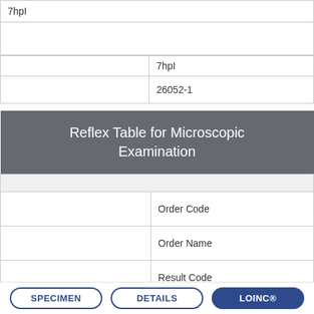|  |  |
| --- | --- |
|  | 7hpI |
|  | 26052-1 |
| Reflex Table for Microscopic Examination |
| --- |
|  |  |
|  | Order Code |
|  | Order Name |
|  | Result Code |
|  | Result Name |
|  | UofM |
SPECIMEN   DETAILS   LOINC®